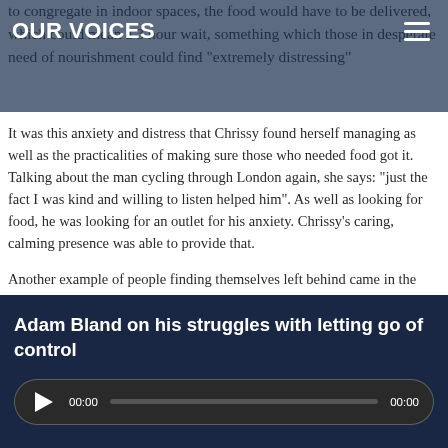OUR VOICES
to congregate in indoor spaces, the food would have to be delivered, which could mean a 3 hour wait, something which those in desperate need of nourishment could find "extremely distressing"
It was this anxiety and distress that Chrissy found herself managing as well as the practicalities of making sure those who needed food got it. Talking about the man cycling through London again, she says: "just the fact I was kind and willing to listen helped him". As well as looking for food, he was looking for an outlet for his anxiety. Chrissy's caring, calming presence was able to provide that.
Another example of people finding themselves left behind came in the shape of a Spanish-speaking community who were not able to understand how to access the food banks. As no-one on the
Adam Bland on his struggles with letting go of control
[Figure (other): Audio player widget showing play button, 00:00 start time, progress bar, and 00:00 end time on a dark rounded rectangle background.]